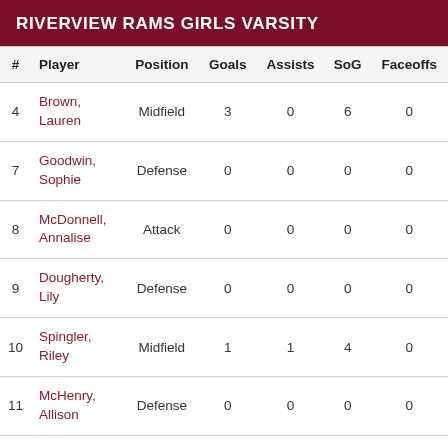RIVERVIEW RAMS GIRLS VARSITY
| # | Player | Position | Goals | Assists | SoG | Faceoffs |
| --- | --- | --- | --- | --- | --- | --- |
| 4 | Brown, Lauren | Midfield | 3 | 0 | 6 | 0 |
| 7 | Goodwin, Sophie | Defense | 0 | 0 | 0 | 0 |
| 8 | McDonnell, Annalise | Attack | 0 | 0 | 0 | 0 |
| 9 | Dougherty, Lily | Defense | 0 | 0 | 0 | 0 |
| 10 | Spingler, Riley | Midfield | 1 | 1 | 4 | 0 |
| 11 | McHenry, Allison | Defense | 0 | 0 | 0 | 0 |